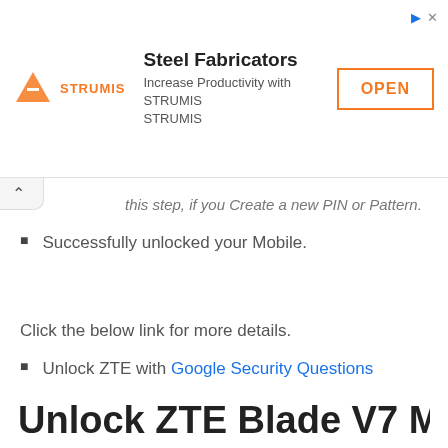[Figure (other): Advertisement banner for STRUMIS Steel Fabricators with logo, tagline 'Increase Productivity with STRUMIS STRUMIS', and an OPEN button]
this step, if you Create a new PIN or Pattern.
Successfully unlocked your Mobile.
Click the below link for more details.
Unlock ZTE with Google Security Questions
Unlock ZTE Blade V7 Max